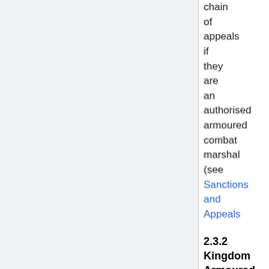chain of appeals if they are an authorised armoured combat marshal (see Sanctions and Appeals
2.3.2 Kingdom Armoured Combat